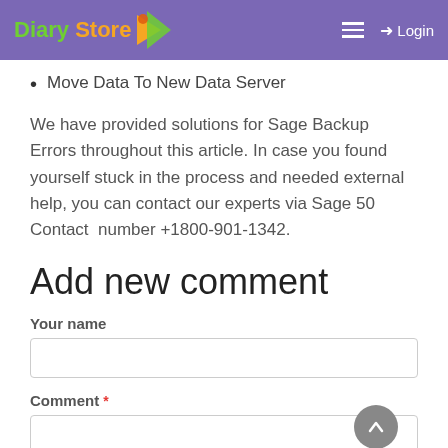Diary Store — Login
Move Data To New Data Server
We have provided solutions for Sage Backup Errors throughout this article. In case you found yourself stuck in the process and needed external help, you can contact our experts via Sage 50 Contact number +1800-901-1342.
Add new comment
Your name
Comment *